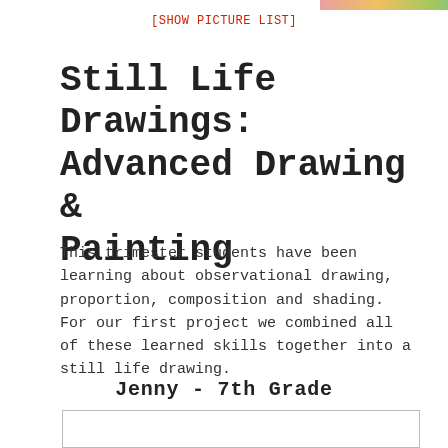[Figure (illustration): Partial colorful horizontal image strip at top of page, showing rainbow/color spectrum artwork]
[SHOW PICTURE LIST]
Still Life Drawings: Advanced Drawing & Painting
This trimester students have been learning about observational drawing, proportion, composition and shading. For our first project we combined all of these learned skills together into a still life drawing.
Jenny - 7th Grade
[Figure (photo): Empty image placeholder box with border]